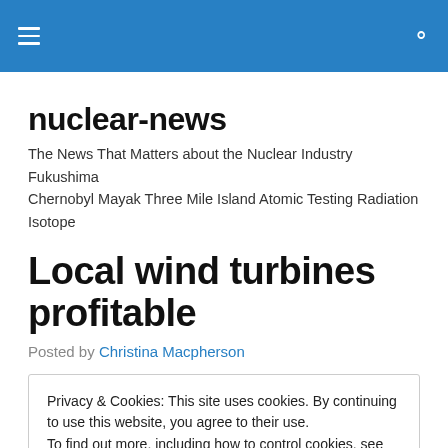nuclear-news (site header bar with hamburger menu and search icon)
nuclear-news
The News That Matters about the Nuclear Industry Fukushima Chernobyl Mayak Three Mile Island Atomic Testing Radiation Isotope
Local wind turbines profitable
Posted by Christina Macpherson
Privacy & Cookies: This site uses cookies. By continuing to use this website, you agree to their use.
To find out more, including how to control cookies, see here: Cookie Policy
Close and accept